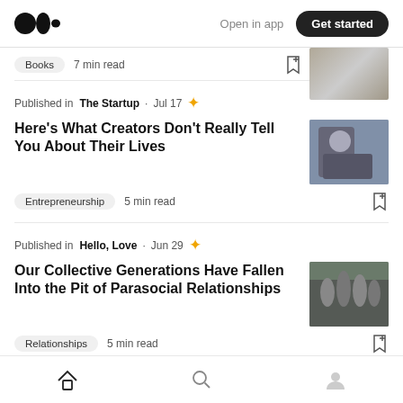Medium logo | Open in app | Get started
Books · 7 min read
Published in The Startup · Jul 17 ★
Here's What Creators Don't Really Tell You About Their Lives
Entrepreneurship · 5 min read
Published in Hello, Love · Jun 29 ★
Our Collective Generations Have Fallen Into the Pit of Parasocial Relationships
Relationships · 5 min read
Home | Search | Profile